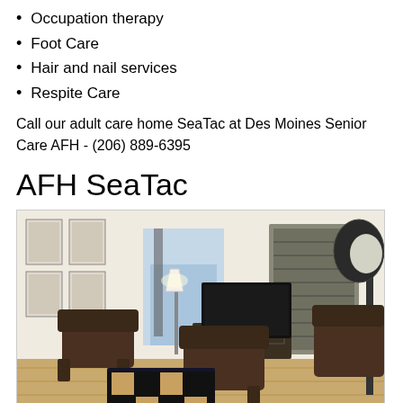Occupation therapy
Foot Care
Hair and nail services
Respite Care
Call our adult care home SeaTac at Des Moines Senior Care AFH - (206) 889-6395
AFH SeaTac
[Figure (photo): Interior photo of a living room with dark leather recliner chairs, a checkered storage ottoman/table, a flat-screen TV on a media console, a floor lamp with white shade, framed artwork on the wall, and a large dark floor lamp. The room has hardwood floors and light-colored walls.]